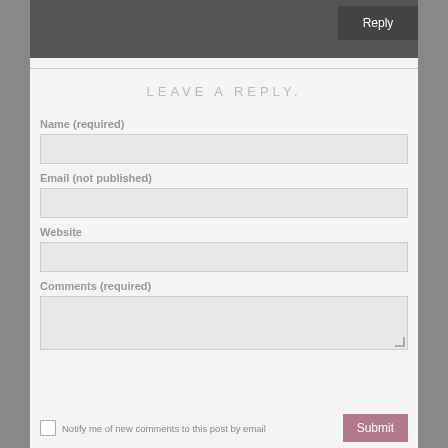[Figure (screenshot): Dark gray bar at top with a Reply button on the right side]
LEAVE A REPLY.
Name (required)
Email (not published)
Website
Comments (required)
Notify me of new comments to this post by email